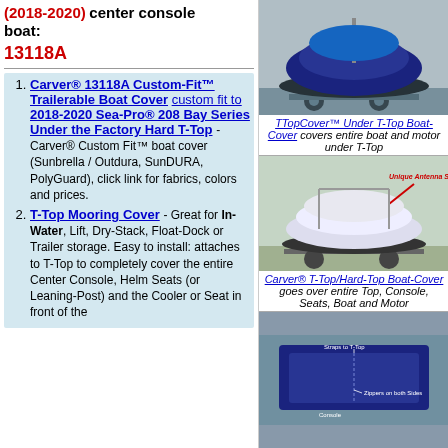(2018-2020) center console boat:
13118A
Carver® 13118A Custom-Fit™ Trailerable Boat Cover custom fit to 2018-2020 Sea-Pro® 208 Bay Series Under the Factory Hard T-Top - Carver® Custom Fit™ boat cover (Sunbrella / Outdura, SunDURA, PolyGuard), click link for fabrics, colors and prices.
T-Top Mooring Cover - Great for In-Water, Lift, Dry-Stack, Float-Dock or Trailer storage. Easy to install: attaches to T-Top to completely cover the entire Center Console, Helm Seats (or Leaning-Post) and the Cooler or Seat in front of the
[Figure (photo): TTopCover under T-Top boat cover on trailer, dark blue cover over boat and motor]
TTopCover™ Under T-Top Boat-Cover covers entire boat and motor under T-Top
[Figure (photo): Carver T-Top/Hard-Top boat cover, white/grey cover with Unique Antenna Sleeve label, boat on trailer]
Carver® T-Top/Hard-Top Boat-Cover goes over entire Top, Console, Seats, Boat and Motor
[Figure (photo): Bottom photo showing dark blue mooring cover with straps to T-Top and zippers on both sides labels]